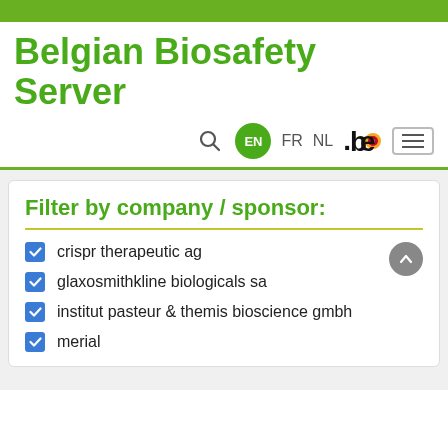[Figure (screenshot): Top green navigation bar of the Belgian Biosafety Server website]
Belgian Biosafety Server
[Figure (infographic): Navigation bar with search icon, EN language selector (active, green circle), FR and NL language options, .be logo, and hamburger menu button]
Filter by company / sponsor:
crispr therapeutic ag
glaxosmithkline biologicals sa
institut pasteur & themis bioscience gmbh
merial